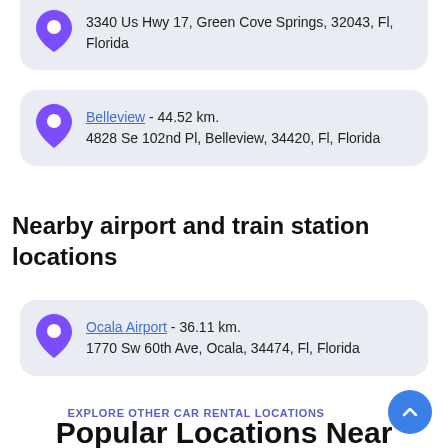3340 Us Hwy 17, Green Cove Springs, 32043, Fl, Florida
Belleview - 44.52 km. 4828 Se 102nd Pl, Belleview, 34420, Fl, Florida
Nearby airport and train station locations
Ocala Airport - 36.11 km. 1770 Sw 60th Ave, Ocala, 34474, Fl, Florida
EXPLORE OTHER CAR RENTAL LOCATIONS
Popular Locations Near